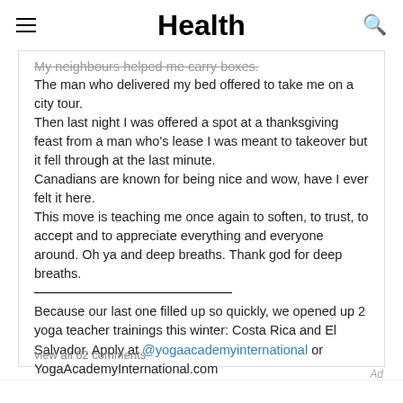Health
My neighbours helped me carry boxes.
The man who delivered my bed offered to take me on a city tour.
Then last night I was offered a spot at a thanksgiving feast from a man who's lease I was meant to takeover but it fell through at the last minute.
Canadians are known for being nice and wow, have I ever felt it here.
This move is teaching me once again to soften, to trust, to accept and to appreciate everything and everyone around. Oh ya and deep breaths. Thank god for deep breaths.
Because our last one filled up so quickly, we opened up 2 yoga teacher trainings this winter: Costa Rica and El Salvador. Apply at @yogaacademyinternational or YogaAcademyInternational.com
♥
view all 62 comments
Ad